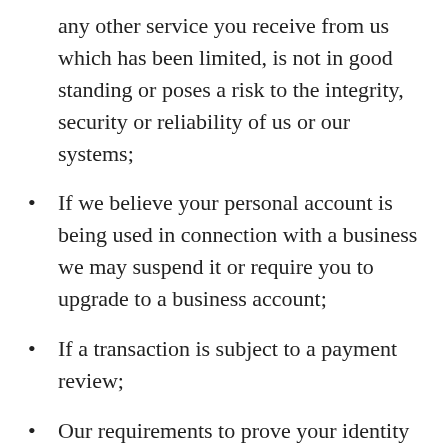any other service you receive from us which has been limited, is not in good standing or poses a risk to the integrity, security or reliability of us or our systems;
If we believe your personal account is being used in connection with a business we may suspend it or require you to upgrade to a business account;
If a transaction is subject to a payment review;
Our requirements to prove your identity in accordance with Anti-Money Laundering and Counter-Terrorism Financing laws (“AML laws”);
Suspected fraud;
Sudden changes in the amount or number of